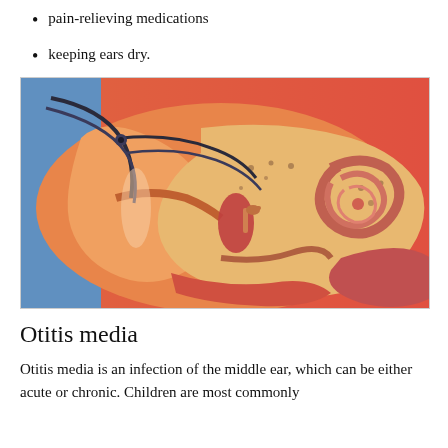pain-relieving medications
keeping ears dry.
[Figure (illustration): Medical illustration showing a cross-section of the human ear anatomy with detailed internal structures including the ear canal, eardrum, middle ear ossicles, cochlea, and associated tubes. The illustration has a coral/red and blue background with detailed anatomical coloring in oranges, reds, and pinks.]
Otitis media
Otitis media is an infection of the middle ear, which can be either acute or chronic. Children are most commonly